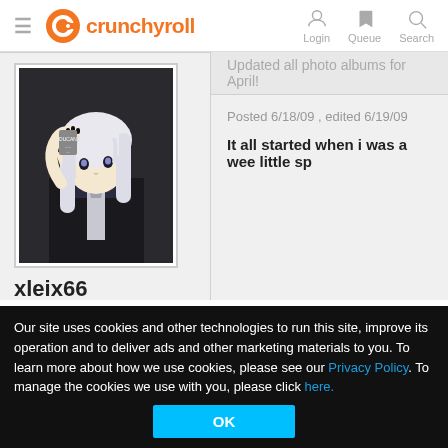[Figure (logo): Crunchyroll logo with orange circular icon and text]
Login  Queue  Search
Updated all photo albums for April!
Posted 6/18/09 , edited 6/19/09
[Figure (photo): Anime-style figure with white hair and dark outfit]
xleix66
1374 cr points
Send Message:
29 / F
It all started when i was a wee little sp
Our site uses cookies and other technologies to run this site, improve its operation and to deliver ads and other marketing materials to you. To learn more about how we use cookies, please see our Privacy Policy. To manage the cookies we use with you, please click here.
OK